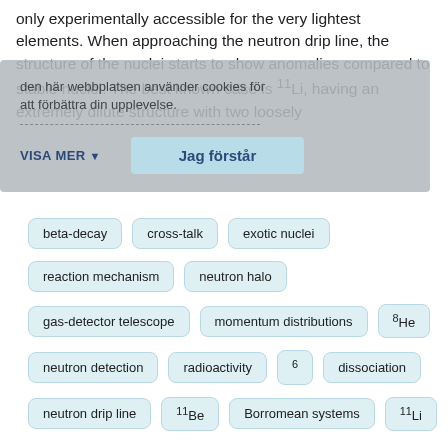only experimentally accessible for the very lightest elements. When approaching the neutron drip line, the structure of the nuclei starts to show anomalies compared to stable nuclei. The best known case is 11Li, having an extremely dilute structure with two loosely
Cookie overlay: [Swedish cookie consent UI] VISA MER ▼  |  Jag förstår
beta-decay
cross-talk
exotic nuclei
reaction mechanism
neutron halo
gas-detector telescope
momentum distributions
8He
neutron detection
radioactivity
6
dissociation
neutron drip line
11Be
Borromean systems
11Li